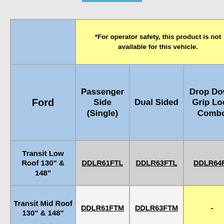| Ford | Passenger Side (Single) | Dual Sided | Drop Down Grip Lock Combo |
| --- | --- | --- | --- |
|  | *For operator safety, this product is not available for this vehicle. |  |  |
| Ford | Passenger Side (Single) | Dual Sided | Drop Down Grip Lock Combo |
| Transit Low Roof 130" & 148" | DDLR61FTL | DDLR63FTL | DDLR64FT... |
| Transit Mid Roof 130" & 148" | DDLR61FTM | DDLR63FTM | - |
| Transit High ... |  |  |  |